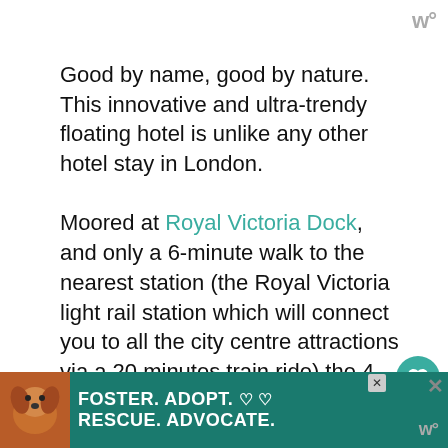w°
Good by name, good by nature. This innovative and ultra-trendy floating hotel is unlike any other hotel stay in London.

Moored at Royal Victoria Dock, and only a 6-minute walk to the nearest station (the Royal Victoria light rail station which will connect you to all the city centre attractions via a 20 minutes train ride) the 4-star Good Hotel is already highly rated has a hip community vibe – all profits are ploughed back into the business which offers jobs to
[Figure (infographic): Dog adoption advertisement banner: brown/tan dog photo on left, teal background with text FOSTER. ADOPT. RESCUE. ADVOCATE. and heart icons]
w°